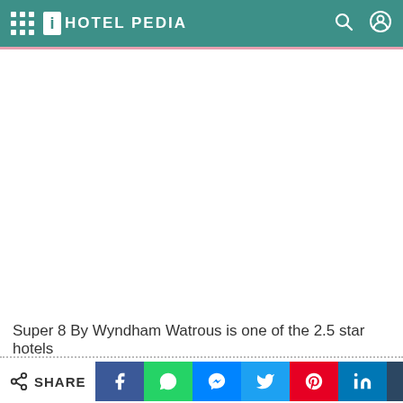iHOTEL PEDIA
Super 8 By Wyndham Watrous is one of the 2.5 star hotels
SHARE